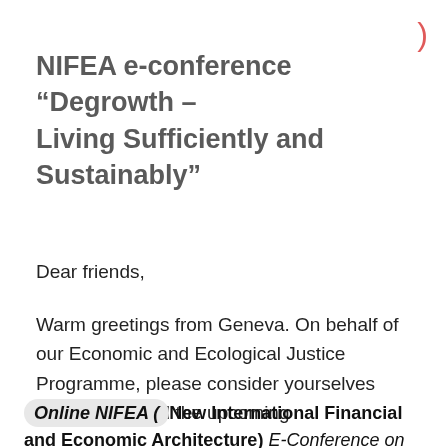NIFEA e-conference “Degrowth – Living Sufficiently and Sustainably”
Dear friends,
Warm greetings from Geneva. On behalf of our Economic and Ecological Justice Programme, please consider yourselves invited to attend the upcoming
Online NIFEA (New International Financial and Economic Architecture) E-Conference on